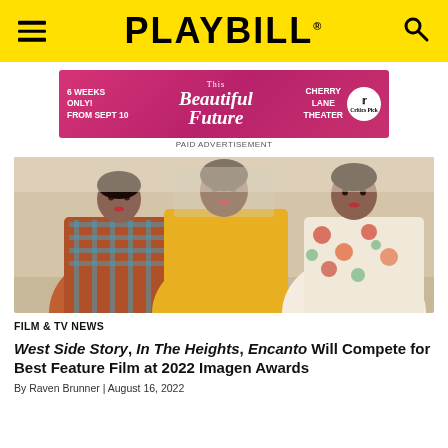PLAYBILL
[Figure (photo): Advertisement banner for 'This Beautiful Future' at Cherry Lane Theater, pink background with white text, critics pick logo]
PAID ADVERTISEMENT
[Figure (photo): Three women in 1950s-style dresses posing together — left in plaid/floral dress, center in yellow halter dress, right in floral white dress]
FILM & TV NEWS
West Side Story, In The Heights, Encanto Will Compete for Best Feature Film at 2022 Imagen Awards
By Raven Brunner | August 16, 2022